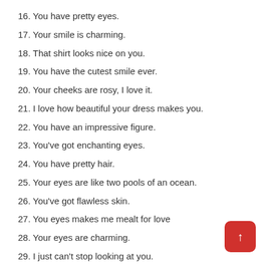16. You have pretty eyes.
17. Your smile is charming.
18. That shirt looks nice on you.
19. You have the cutest smile ever.
20. Your cheeks are rosy, I love it.
21. I love how beautiful your dress makes you.
22. You have an impressive figure.
23. You've got enchanting eyes.
24. You have pretty hair.
25. Your eyes are like two pools of an ocean.
26. You've got flawless skin.
27. You eyes makes me mealt for love
28. Your eyes are charming.
29. I just can't stop looking at you.